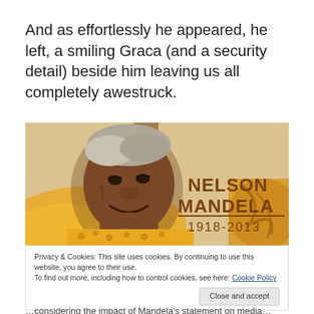And as effortlessly he appeared, he left, a smiling Graca (and a security detail) beside him leaving us all completely awestruck.
[Figure (photo): Photo of Nelson Mandela smiling, seated, wearing yellow patterned clothing. Text overlay reads 'NELSON MANDELA 1918-2013' in bold brown/gold lettering.]
Privacy & Cookies: This site uses cookies. By continuing to use this website, you agree to their use.
To find out more, including how to control cookies, see here: Cookie Policy
Close and accept
…considering the impact of Mandela's statement on media…